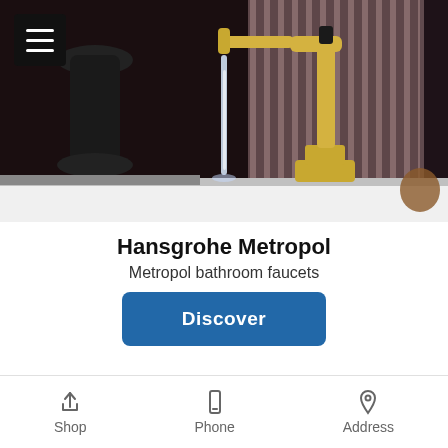[Figure (photo): Gold/brass Hansgrohe Metropol bathroom faucet running water on a white sink counter, with dark background and pink fluted wall panel]
Hansgrohe Metropol
Metropol bathroom faucets
Discover
[Figure (photo): Partial view of another product or scene, appears to show horizontal lines/stripes and outdoor greenery]
Shop  Phone  Address